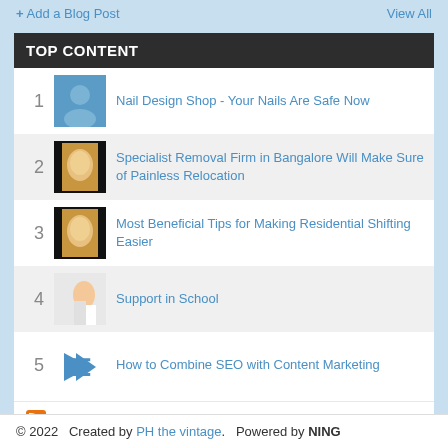+ Add a Blog Post   View All
TOP CONTENT
1  Nail Design Shop - Your Nails Are Safe Now
2  Specialist Removal Firm in Bangalore Will Make Sure of Painless Relocation
3  Most Beneficial Tips for Making Residential Shifting Easier
4  Support in School
5  How to Combine SEO with Content Marketing
© 2022   Created by PH the vintage.   Powered by NING